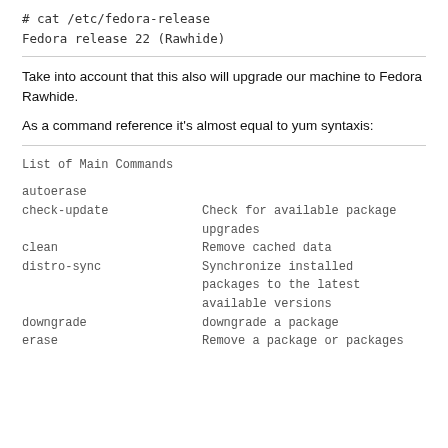# cat /etc/fedora-release
Fedora release 22 (Rawhide)
Take into account that this also will upgrade our machine to Fedora Rawhide.
As a command reference it's almost equal to yum syntaxis:
List of Main Commands
| Command | Description |
| --- | --- |
| autoerase |  |
| check-update | Check for available package upgrades |
| clean | Remove cached data |
| distro-sync | Synchronize installed packages to the latest available versions |
| downgrade | downgrade a package |
| erase | Remove a package or packages |